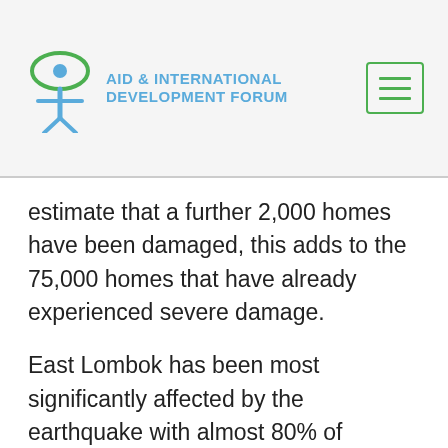AID & INTERNATIONAL DEVELOPMENT FORUM
estimate that a further 2,000 homes have been damaged, this adds to the 75,000 homes that have already experienced severe damage.
East Lombok has been most significantly affected by the earthquake with almost 80% of buildings in the region having collapsed. There are also warning that the structures that still stand may have been severely compromised from the earthquake and multiple aftershocks, making them too dangerous to enter.